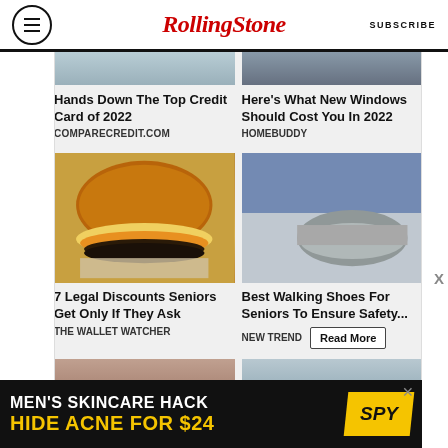RollingStone | SUBSCRIBE
[Figure (photo): Partial photo top-left: person holding phone with teal background]
[Figure (photo): Partial photo top-right: person in military/casual wear]
Hands Down The Top Credit Card of 2022
COMPARECREDIT.COM
Here's What New Windows Should Cost You In 2022
HOMEBUDDY
[Figure (photo): Cheeseburger on paper wrapping]
[Figure (photo): Feet wearing walking shoes, grey athletic shoes with blue jeans]
7 Legal Discounts Seniors Get Only If They Ask
THE WALLET WATCHER
Best Walking Shoes For Seniors To Ensure Safety...
NEW TREND
[Figure (photo): Partial photo bottom-left: woman's face/hair]
[Figure (photo): Partial photo bottom-right: man's face]
[Figure (infographic): MEN'S SKINCARE HACK HIDE ACNE FOR $24 advertisement with SPY logo on black and yellow background]